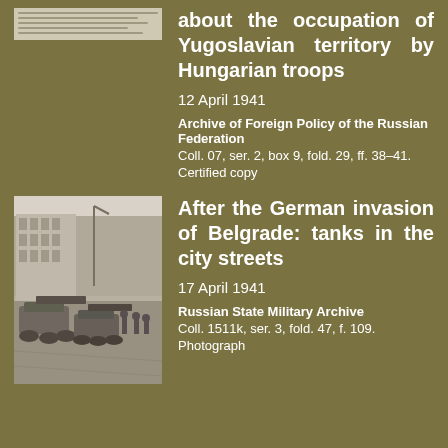[Figure (photo): Small partial image of a document or newspaper clipping, partially visible at top of page]
Envoy to the USSR, Khristo about the occupation of Yugoslavian territory by Hungarian troops
12 April 1941
Archive of Foreign Policy of the Russian Federation
Coll. 07, ser. 2, box 9, fold. 29, ff. 38–41.
Certified copy
[Figure (photo): Black and white photograph showing German tanks driving through Belgrade city streets after the German invasion, buildings visible in background, soldiers on street]
After the German invasion of Belgrade: tanks in the city streets
17 April 1941
Russian State Military Archive
Coll. 1511k, ser. 3, fold. 47, f. 109.
Photograph